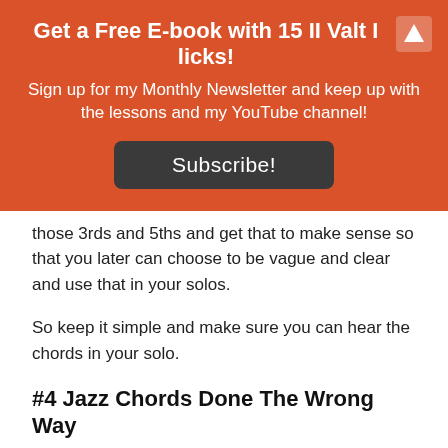Get a Free E-book with 15 II Valt I licks!
Sign up for my Monthly Newsletter and keep up with the lessons and my YouTube channel!
Subscribe!
those 3rds and 5ths and get that to make sense so that you later can choose to be vague and clear and use that in your solos.
So keep it simple and make sure you can hear the chords in your solo.
#4 Jazz Chords Done The Wrong Way
The people I checked out before getting into Jazz probably offered me a shortcut when it came to this. When you first start out learning chords on the guitar then everything is based on grips which is a practical and visual way to learn